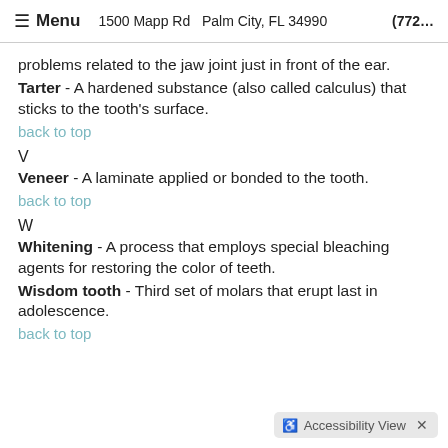≡ Menu   1500 Mapp Rd  Palm City, FL 34990  (772...
problems related to the jaw joint just in front of the ear.
Tarter - A hardened substance (also called calculus) that sticks to the tooth's surface.
back to top
V
Veneer - A laminate applied or bonded to the tooth.
back to top
W
Whitening - A process that employs special bleaching agents for restoring the color of teeth.
Wisdom tooth - Third set of molars that erupt last in adolescence.
back to top